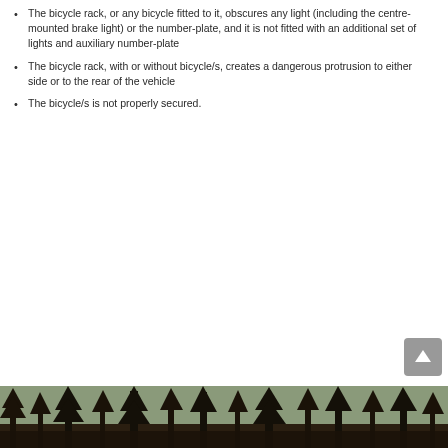The bicycle rack, or any bicycle fitted to it, obscures any light (including the centre-mounted brake light) or the number-plate, and it is not fitted with an additional set of lights and auxiliary number-plate
The bicycle rack, with or without bicycle/s, creates a dangerous protrusion to either side or to the rear of the vehicle
The bicycle/s is not properly secured.
[Figure (photo): A strip photograph of a forest with tall dark trees visible at the bottom of the page]